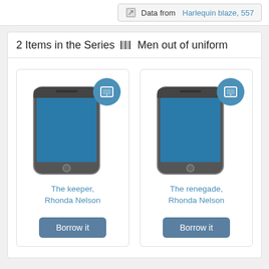Data from Harlequin blaze, 557
2 Items in the Series  Men out of uniform
[Figure (illustration): Book card with smartphone cover image and tablet badge icon for 'The keeper, Rhonda Nelson' with a 'Borrow it' button]
The keeper, Rhonda Nelson
Borrow it
[Figure (illustration): Book card with smartphone cover image and tablet badge icon for 'The renegade, Rhonda Nelson' with a 'Borrow it' button]
The renegade, Rhonda Nelson
Borrow it